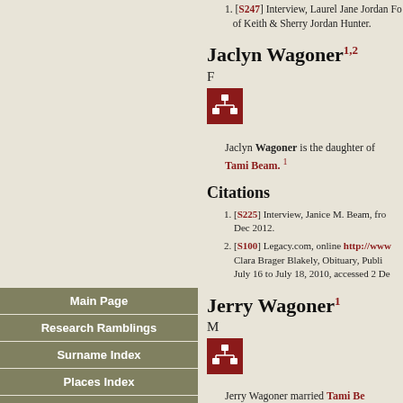1. [S247] Interview, Laurel Jane Jordan Fo... of Keith & Sherry Jordan Hunter.
Jaclyn Wagoner1,2
F
[Figure (other): Red icon box with family tree symbol]
Jaclyn Wagoner is the daughter of Tami Beam.1
Citations
[S225] Interview, Janice M. Beam, from... Dec 2012.
[S100] Legacy.com, online http://www... Clara Brager Blakely, Obituary, Publis... July 16 to July 18, 2010, accessed 2 De...
Jerry Wagoner1
M
[Figure (other): Red icon box with family tree symbol]
Jerry Wagoner married Tami Be...